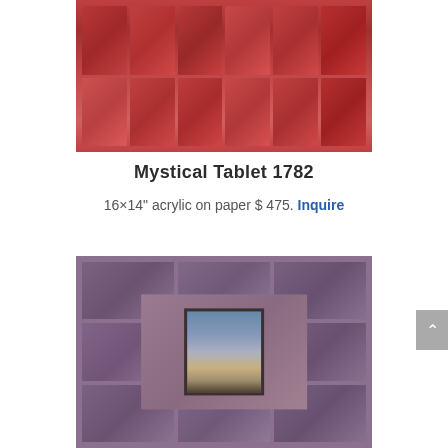[Figure (photo): Partial view of artwork 'Mystical Tablet 1782' showing red acrylic tiles arranged in a grid on paper, cropped at top of page]
Mystical Tablet 1782
16×14" acrylic on paper $ 475. Inquire
[Figure (photo): Artwork showing a grid of purple/mauve acrylic tiles on paper with a central framed photographic image of a landscape with mountains and a dark figure in the foreground]